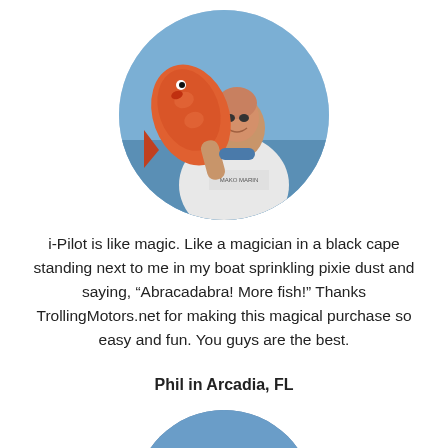[Figure (photo): Circular photo of a man holding a large red/orange fish, wearing a white Mako Marine shirt, on a boat with blue ocean in background]
i-Pilot is like magic. Like a magician in a black cape standing next to me in my boat sprinkling pixie dust and saying, “Abracadabra! More fish!” Thanks TrollingMotors.net for making this magical purchase so easy and fun. You guys are the best.
Phil in Arcadia, FL
[Figure (photo): Circular photo partially visible at bottom of page showing a person outdoors]